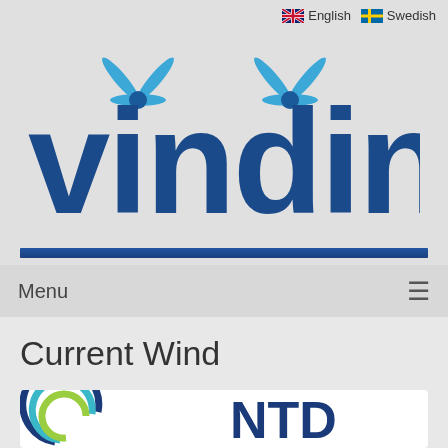[Figure (logo): Vindin website logo with wind turbine propeller icons above stylized blue text 'vindin', with English and Swedish language flags in top right]
Menu ≡
Current Wind
[Figure (logo): Partial logos visible at bottom: a circular blue/green/teal logo on the left and partial blue letters 'NTD' or similar on the right]